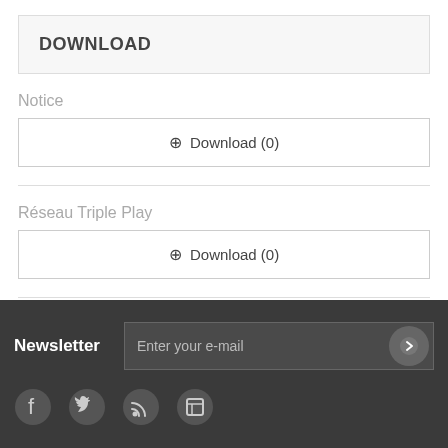DOWNLOAD
Notice
⊕ Download (0)
Réseau Triple Play
⊕ Download (0)
Newsletter
Enter your e-mail